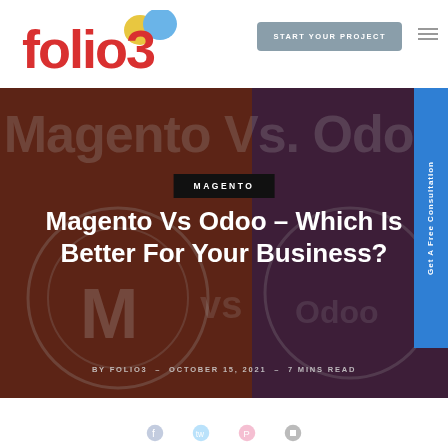[Figure (logo): Folio3 logo with red text and colorful speech bubble icons]
START YOUR PROJECT
[Figure (illustration): Hero banner with Magento Vs. Odoo watermark text, Magento and Odoo logos as overlapping circles on split brown/dark-plum background]
MAGENTO
Magento Vs Odoo – Which Is Better For Your Business?
BY FOLIO3 - OCTOBER 15, 2021 - 7 MINS READ
[Figure (infographic): Get A Free Consultation sidebar button in blue]